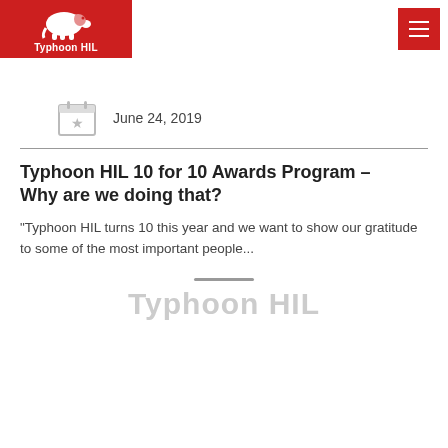Typhoon HIL
[Figure (logo): Typhoon HIL logo - white elephant on red background with text 'Typhoon HIL']
[Figure (illustration): Calendar icon with a star, grey colored]
June 24, 2019
Typhoon HIL 10 for 10 Awards Program – Why are we doing that?
“Typhoon HIL turns 10 this year and we want to show our gratitude to some of the most important people...”
[Figure (logo): Typhoon HIL logo partially visible at bottom of page, grey/faded]